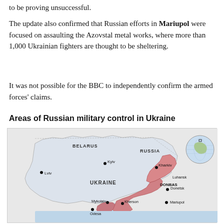to be proving unsuccessful.
The update also confirmed that Russian efforts in Mariupol were focused on assaulting the Azovstal metal works, where more than 1,000 Ukrainian fighters are thought to be sheltering.
It was not possible for the BBC to independently confirm the armed forces' claims.
Areas of Russian military control in Ukraine
[Figure (map): Map showing areas of Russian military control in Ukraine, with pink/red shaded regions in eastern Ukraine including Donbas, Luhansk, Donetsk, Mariupol area, and southern regions near Kherson. Cities labeled: Lviv, Kyiv, Kharkiv, Luhansk, Donbas, Donetsk, Mykolaiv, Kherson, Mariupol, Odesa. Countries labeled: Belarus, Russia, Ukraine. Small globe inset in upper right corner.]